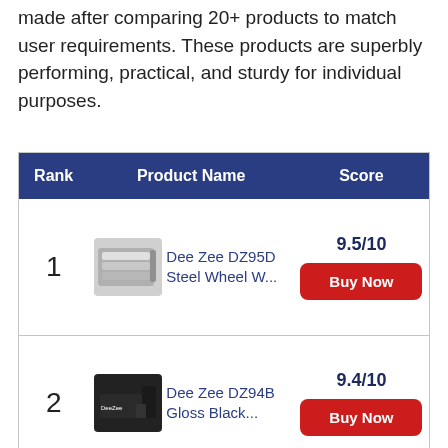made after comparing 20+ products to match user requirements. These products are superbly performing, practical, and sturdy for individual purposes.
| Rank | Product Name | Score |
| --- | --- | --- |
| 1 | Dee Zee DZ95D Steel Wheel W... | 9.5/10 |
| 2 | Dee Zee DZ94B Gloss Black... | 9.4/10 |